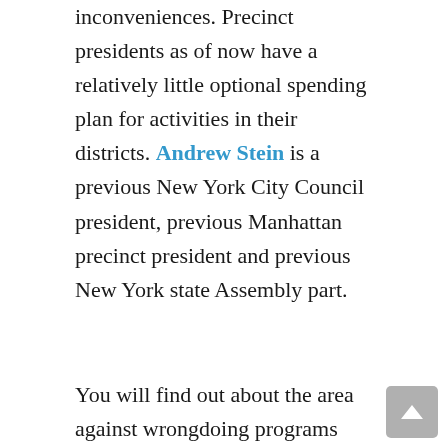inconveniences. Precinct presidents as of now have a relatively little optional spending plan for activities in their districts. Andrew Stein is a previous New York City Council president, previous Manhattan precinct president and previous New York state Assembly part.
You will find out about the area against wrongdoing programs and find a fortune trove of wrongdoing battling techniques that will bring down your chances of being an unfortunate casualty. In any case, the President's all in all health is extraordinary. Reference staff can advise you in both how to finish a call slip and when the thing can be served. It is for all intents and purposes outlandish for an association to recover from the stumbles and fumble that touch base with awful initiative determination. Make sense of how